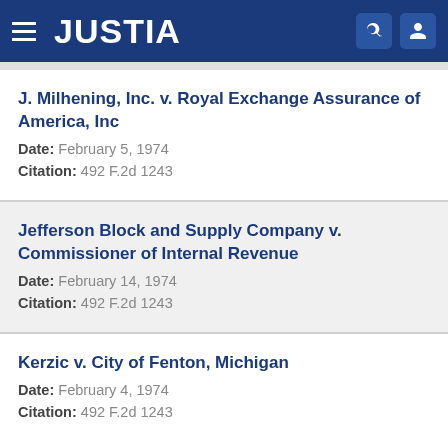JUSTIA
J. Milhening, Inc. v. Royal Exchange Assurance of America, Inc
Date: February 5, 1974
Citation: 492 F.2d 1243
Jefferson Block and Supply Company v. Commissioner of Internal Revenue
Date: February 14, 1974
Citation: 492 F.2d 1243
Kerzic v. City of Fenton, Michigan
Date: February 4, 1974
Citation: 492 F.2d 1243